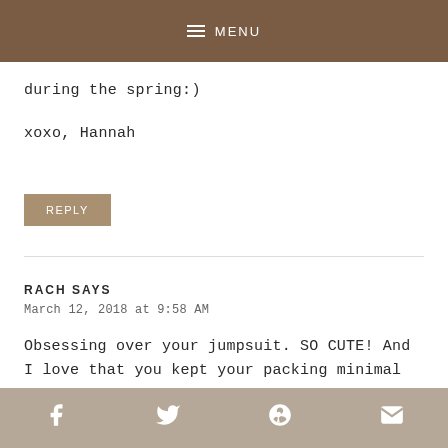MENU
during the spring:)
xoxo, Hannah
REPLY
RACH SAYS
March 12, 2018 at 9:58 AM
Obsessing over your jumpsuit. SO CUTE! And I love that you kept your packing minimal but are able to
f  Twitter  Pinterest  Mail